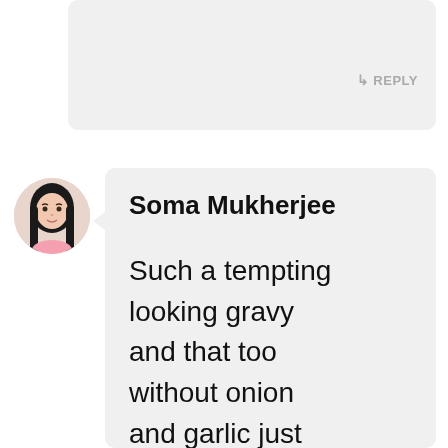REPLY
[Figure (photo): Circular profile photo of a woman with long black hair wearing a pink top, against a light background.]
Soma Mukherjee
Such a tempting looking gravy and that too without onion and garlic just